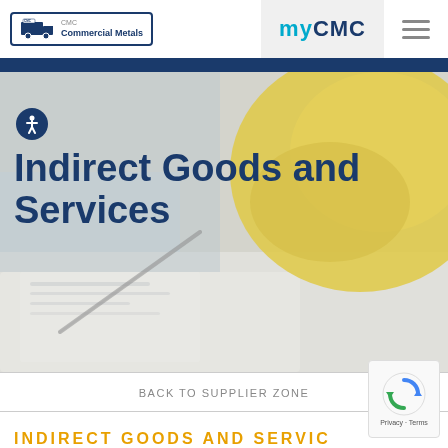[Figure (logo): CMC Commercial Metals logo with truck icon and company name in a bordered box]
[Figure (screenshot): myCMC navigation link with blue and cyan text on gray background, and hamburger menu icon]
[Figure (photo): Hero background photo of office/construction materials — blurred clipboard and yellow hard hat on a desk]
Indirect Goods and Services
BACK TO SUPPLIER ZONE
INDIRECT GOODS AND SERVICES